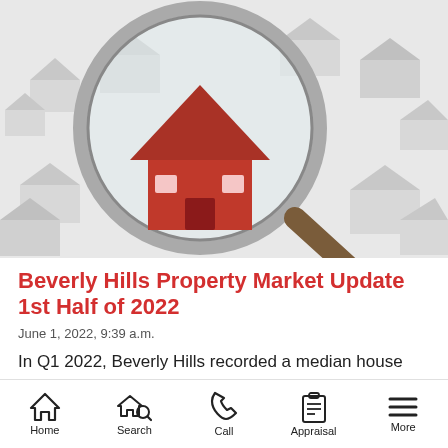[Figure (photo): A magnifying glass held over a red house model surrounded by small white house models on a light background, representing real estate market search/analysis.]
Beverly Hills Property Market Update 1st Half of 2022
June 1, 2022, 9:39 a.m.
In Q1 2022, Beverly Hills recorded a median house
Home  Search  Call  Appraisal  More